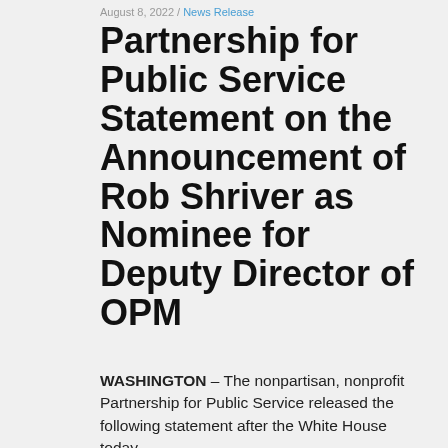August 8, 2022 / News Release
Partnership for Public Service Statement on the Announcement of Rob Shriver as Nominee for Deputy Director of OPM
WASHINGTON – The nonpartisan, nonprofit Partnership for Public Service released the following statement after the White House today